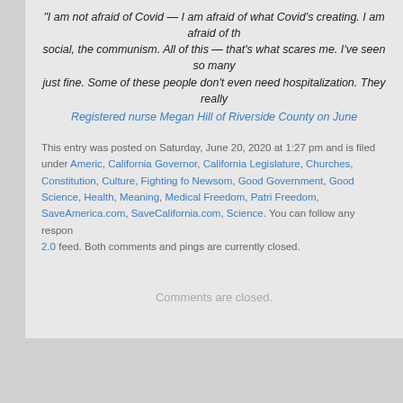"I am not afraid of Covid — I am afraid of what Covid's creating. I am afraid of the social, the communism. All of this — that's what scares me. I've seen so many just fine. Some of these people don't even need hospitalization. They really
Registered nurse Megan Hill of Riverside County on June
This entry was posted on Saturday, June 20, 2020 at 1:27 pm and is filed under America, California Governor, California Legislature, Churches, Constitution, Culture, Fighting for Newsom, Good Government, Good Science, Health, Meaning, Medical Freedom, Patriot Freedom, SaveAmerica.com, SaveCalifornia.com, Science. You can follow any responses 2.0 feed. Both comments and pings are currently closed.
Comments are closed.